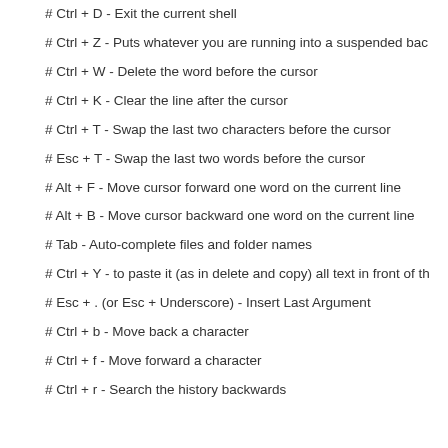# Ctrl + D - Exit the current shell
# Ctrl + Z - Puts whatever you are running into a suspended bac
# Ctrl + W - Delete the word before the cursor
# Ctrl + K - Clear the line after the cursor
# Ctrl + T - Swap the last two characters before the cursor
# Esc + T - Swap the last two words before the cursor
# Alt + F - Move cursor forward one word on the current line
# Alt + B - Move cursor backward one word on the current line
# Tab - Auto-complete files and folder names
# Ctrl + Y - to paste it (as in delete and copy) all text in front of th
# Esc + . (or Esc + Underscore) - Insert Last Argument
# Ctrl + b - Move back a character
# Ctrl + f - Move forward a character
# Ctrl + r - Search the history backwards